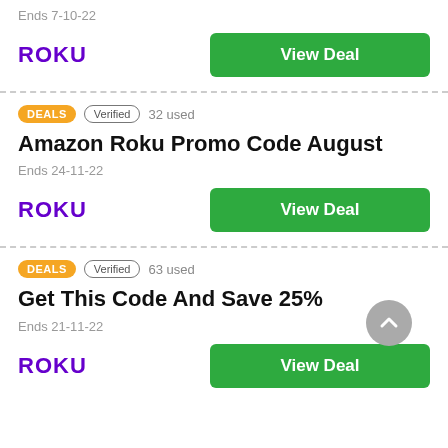Ends 7-10-22
[Figure (logo): Roku logo (purple bold text)]
View Deal
DEALS  Verified  32 used
Amazon Roku Promo Code August
Ends 24-11-22
[Figure (logo): Roku logo (purple bold text)]
View Deal
DEALS  Verified  63 used
Get This Code And Save 25%
Ends 21-11-22
[Figure (logo): Roku logo (purple bold text)]
View Deal